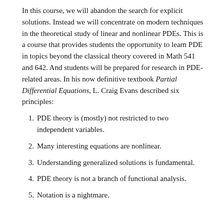In this course, we will abandon the search for explicit solutions. Instead we will concentrate on modern techniques in the theoretical study of linear and nonlinear PDEs. This is a course that provides students the opportunity to learn PDE in topics beyond the classical theory covered in Math 541 and 642. And students will be prepared for research in PDE-related areas. In his now definitive textbook Partial Differential Equations, L. Craig Evans described six principles:
PDE theory is (mostly) not restricted to two independent variables.
Many interesting equations are nonlinear.
Understanding generalized solutions is fundamental.
PDE theory is not a branch of functional analysis.
Notation is a nightmare.